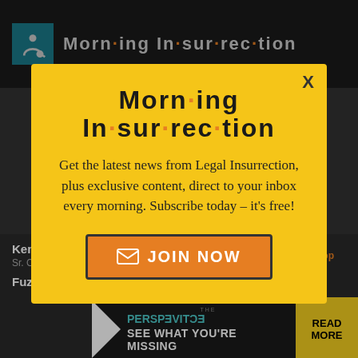Morning Insurrection
Get the latest from Legal Insurrection each morning plus exclusive Author
[Figure (screenshot): Modal popup overlay with yellow background showing 'Morning Insurrection' newsletter signup with 'JOIN NOW' button and X close button]
Kemberlee Kaye
Sr. Co...
Mary Chastain
back to top
Fuzzy Slippers
Mike LaChance
[Figure (advertisement): Ad banner: THE PERSPECTIVE logo with 'SEE WHAT YOU'RE MISSING' text and 'READ MORE' button]